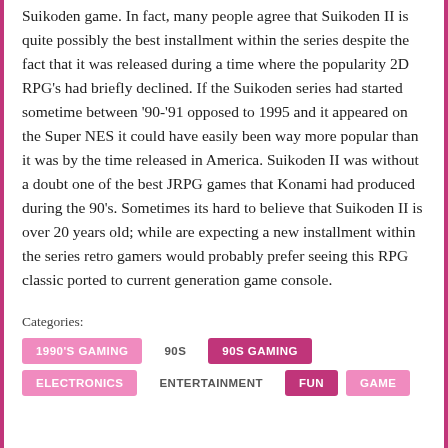Suikoden game. In fact, many people agree that Suikoden II is quite possibly the best installment within the series despite the fact that it was released during a time where the popularity 2D RPG's had briefly declined. If the Suikoden series had started sometime between '90-'91 opposed to 1995 and it appeared on the Super NES it could have easily been way more popular than it was by the time released in America. Suikoden II was without a doubt one of the best JRPG games that Konami had produced during the 90's. Sometimes its hard to believe that Suikoden II is over 20 years old; while are expecting a new installment within the series retro gamers would probably prefer seeing this RPG classic ported to current generation game console.
Categories:
1990'S GAMING
90S
90S GAMING
ELECTRONICS
ENTERTAINMENT
FUN
GAME